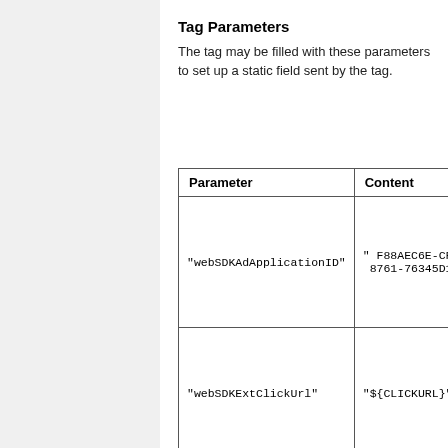Tag Parameters
The tag may be filled with these parameters to set up a static field sent by the tag.
| Parameter | Content |
| --- | --- |
| "webSDKAdApplicationID" | " F88AEC6E-CF1A-8761-76345D1A496 |
| "webSDKExtClickUrl" | "${CLICKURL}" |